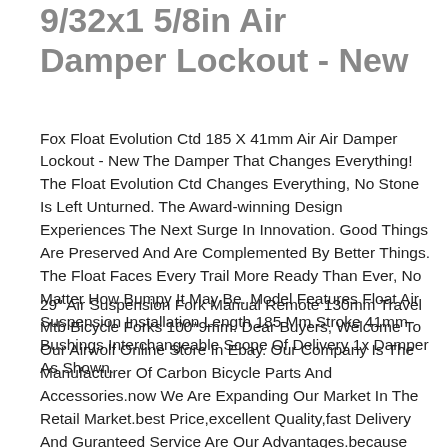9/32x1 5/8in Air Damper Lockout - New
Fox Float Evolution Ctd 185 X 41mm Air Air Damper Lockout - New The Damper That Changes Everything! The Float Evolution Ctd Changes Everything, No Stone Is Left Unturned. The Award-winning Design Experiences The Next Surge In Innovation. Good Things Are Preserved And Are Complemented By Better Things. The Float Faces Every Trail More Ready Than Ever, No Matter How Bumpy It May Be. Model Features Float Air Suspension Installation Length 185 Mm Stroke 41mm Bushings Interchangeable Scope Of Delivery 1x Damper As Shown.
29" Air Suspension Fork Manual Remote 130mm Travel Mtb Bicycle Forks 100*9mm. Dear Buyers, Welcome To Our Airwolf Online Store In Ebay. Our Company Is The Manufacturer Of Carbon Bicycle Parts And Accessories.now We Are Expanding Our Market In The Retail Market.best Price,excellent Quality,fast Delivery And Guranteed Service Are Our Advantages.because You Could Buy Directly From Our Factory And Cut Out The Middleman.surely You Will Get The Wholesale Price At Same Top Quality Level Here. Thank You For Your Support!enjoy Your Shopping Here! Best Regards. Yaoflying Technology Co.,ltd.